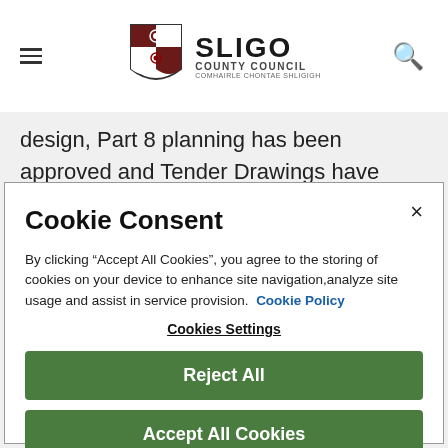Sligo County Council
design, Part 8 planning has been approved and Tender Drawings have been prepared.
Cookie Consent
By clicking “Accept All Cookies”, you agree to the storing of cookies on your device to enhance site navigation,analyze site usage and assist in service provision.  Cookie Policy
Cookies Settings
Reject All
Accept All Cookies